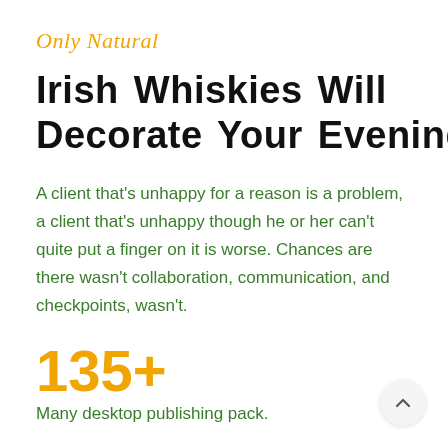Only Natural
Irish Whiskies Will Decorate Your Evening
A client that’s unhappy for a reason is a problem, a client that’s unhappy though he or her can’t quite put a finger on it is worse. Chances are there wasn’t collaboration, communication, and checkpoints, wasn’t.
135+
Many desktop publishing pack.
645